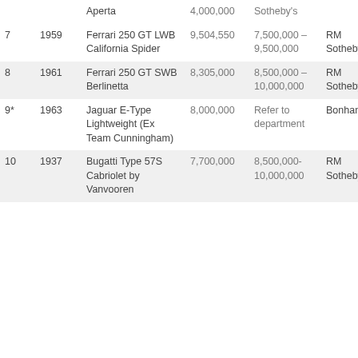| # | Year | Model | Sale Price | Estimate | Auction House | Location |
| --- | --- | --- | --- | --- | --- | --- |
|  |  | Aperta | 4,000,000 | Sotheby's |  |  |
| 7 | 1959 | Ferrari 250 GT LWB California Spider | 9,504,550 | 7,500,000 – 9,500,000 | RM Sotheby's | Maran… |
| 8 | 1961 | Ferrari 250 GT SWB Berlinetta | 8,305,000 | 8,500,000 – 10,000,000 | RM Sotheby's | Monte… |
| 9* | 1963 | Jaguar E-Type Lightweight (Ex Team Cunningham) | 8,000,000 | Refer to department | Bonhams | Quail Lodge… |
| 10 | 1937 | Bugatti Type 57S Cabriolet by Vanvooren | 7,700,000 | 8,500,000-10,000,000 | RM Sotheby's | Amelia Island… |